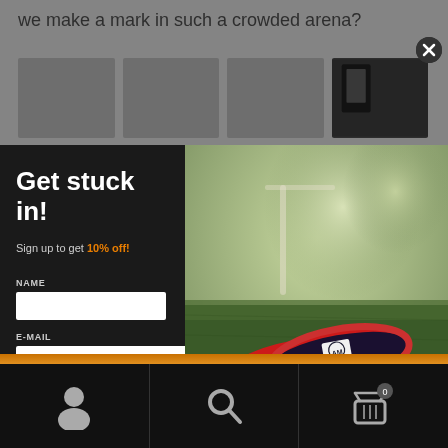we make a mark in such a crowded arena?
[Figure (screenshot): Modal popup with dark left panel (Get stuck in! sign up form) and right panel showing photo of red/black wristbands on grass. Background shows page with thumbnail images.]
Get stuck in!
Sign up to get 10% off!
NAME
E-MAIL
SIGN UP!
[Figure (illustration): Bottom navigation bar with person icon, search icon, and basket icon with 0 badge]